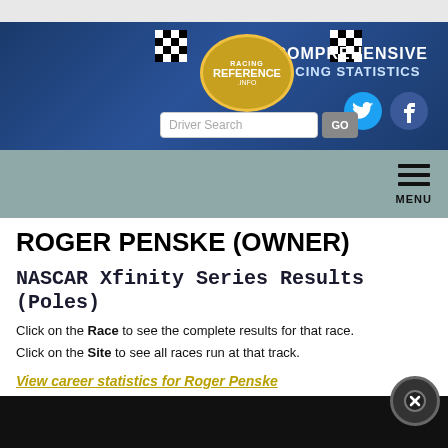[Figure (logo): Racing Reference website banner with logo, checkered flags, 'COMPREHENSIVE RACING STATISTICS' text, Twitter and Facebook icons, and a Driver Search input field]
ROGER PENSKE (OWNER)
NASCAR Xfinity Series Results (Poles)
Click on the Race to see the complete results for that race. Click on the Site to see all races run at that track.
View career statistics for Roger Penske